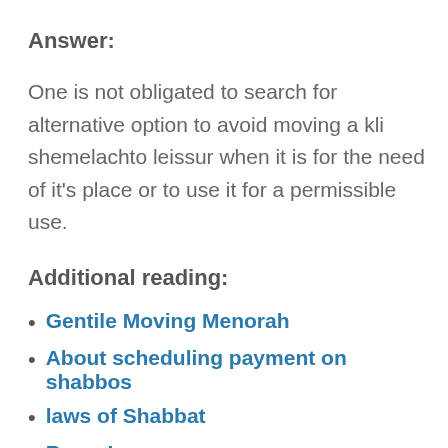Answer:
One is not obligated to search for alternative option to avoid moving a kli shemelachto leissur when it is for the need of it’s place or to use it for a permissible use.
Additional reading:
Gentile Moving Menorah
About scheduling payment on shabbos
laws of Shabbat
Borer Issues